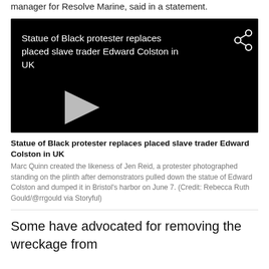manager for Resolve Marine, said in a statement.
[Figure (screenshot): Video player with black background showing title 'Statue of Black protester replaces placed slave trader Edward Colston in UK' with a play button and share icon]
Statue of Black protester replaces placed slave trader Edward Colston in UK
Marc Quinn created the likeness of Jen Reid, a protester photographed standing on the plinth after demonstrators pulled down the statue of Edward Colston and dumped it in Bristol's harbor on June 7. (Credit: Rebecca Ruth Gould/@rrgould via Storyful)
Some have advocated for removing the wreckage from